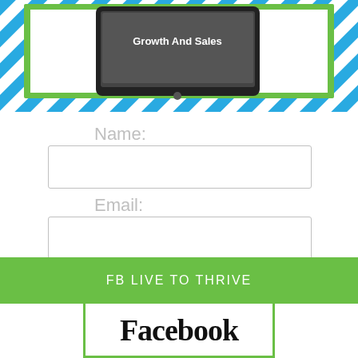[Figure (illustration): Top portion of a webpage showing a tablet device with text 'Growth And Sales' surrounded by a green border and blue diagonal stripe border pattern]
Name:
[Figure (other): Empty text input field for Name]
Email:
[Figure (other): Empty text input field for Email]
I WANT MY COPY!
FB LIVE TO THRIVE
[Figure (illustration): Bottom portion showing Facebook logo text in bold serif font inside a green-bordered box]